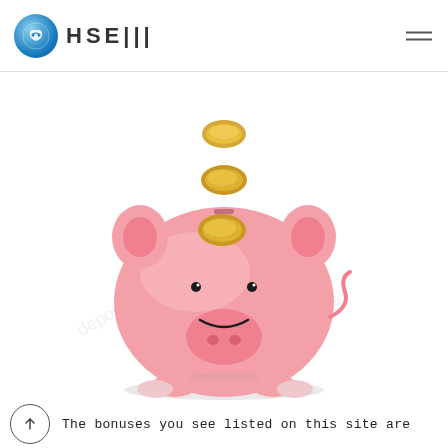HSEM
[Figure (photo): A pink piggy bank with a smile, with gold coins falling into the slot on top. Stock photo with depositphotos watermark.]
The bonuses you see listed on this site are